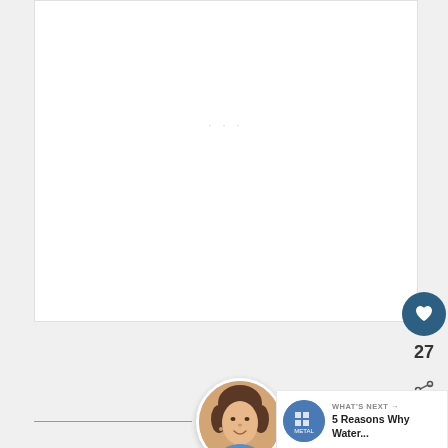[Figure (screenshot): White content card area with faint center dots indicating a loading or placeholder state]
[Figure (illustration): Dark blue circular like/heart button showing heart icon]
27
[Figure (illustration): Light gray circular share button with share icon]
[Figure (photo): Circular author profile photo of a middle-aged woman with short brown hair, smiling]
[Figure (screenshot): What's Next panel with thumbnail and text: WHAT'S NEXT → 5 Reasons Why Water...]